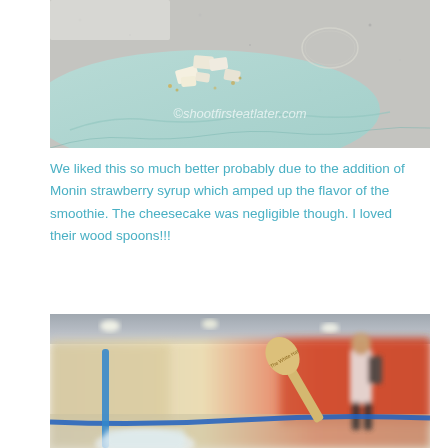[Figure (photo): Close-up photo of cheesecake pieces on a teal/mint green cloth or mat on a granite surface, with watermark text 'shootfirsteatlater.com']
We liked this so much better probably due to the addition of Monin strawberry syrup which amped up the flavor of the smoothie. The cheesecake was negligible though. I loved their wood spoons!!!
[Figure (photo): Photo of a mall food court with blurred background showing shoppers and store fronts, with a wooden spoon branded 'The White Hat' in the foreground and a blue straw visible]